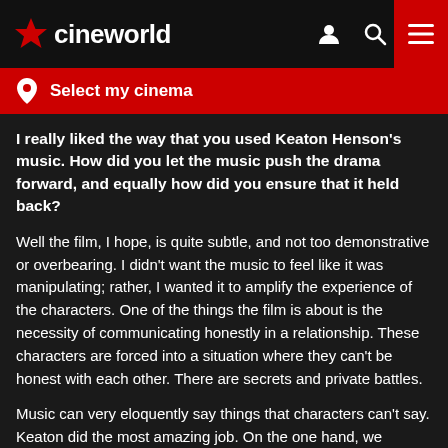cineworld — Select my cinema
I really liked the way that you used Keaton Henson's music. How did you let the music push the drama forward, and equally how did you ensure that it held back?
Well the film, I hope, is quite subtle, and not too demonstrative or overbearing. I didn't want the music to feel like it was manipulating; rather, I wanted it to amplify the experience of the characters. One of the things the film is about is the necessity of communicating honestly in a relationship. These characters are forced into a situation where they can't be honest with each other. There are secrets and private battles.
Music can very eloquently say things that characters can't say. Keaton did the most amazing job. On the one hand, we wanted something that was cinematic and big, but really intimate. Romantic but delicate and fragile. And on the limited budget we had. Budget, of course, has a big part to play in all of this. He did it beautifully. He's an amazing guy.
Supernova is released in Cineworld cinemas on the 25th of June.